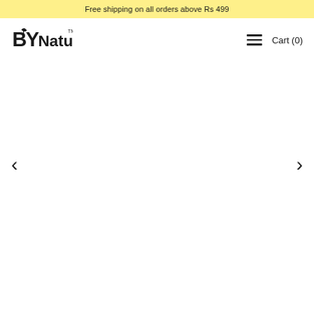Free shipping on all orders above Rs 499
[Figure (logo): BY Nature logo with plant leaf incorporated into B, trademark symbol]
Cart (0)
[Figure (other): Image carousel / slider area — blank white, with left and right navigation arrows]